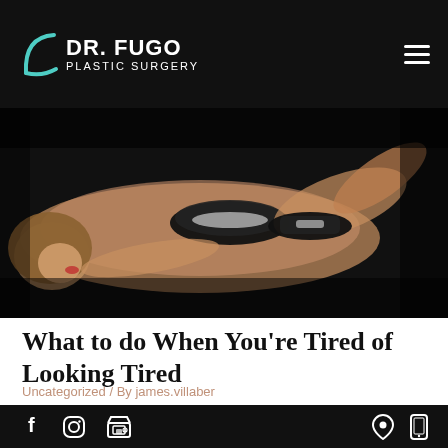Dr. Fugo Plastic Surgery
[Figure (photo): A woman in a black bikini lying on a dark background in a glamour pose]
What to do When You're Tired of Looking Tired
Uncategorized / By james.villaber
Social media and contact icons: Facebook, Instagram, Store, Location, Mobile